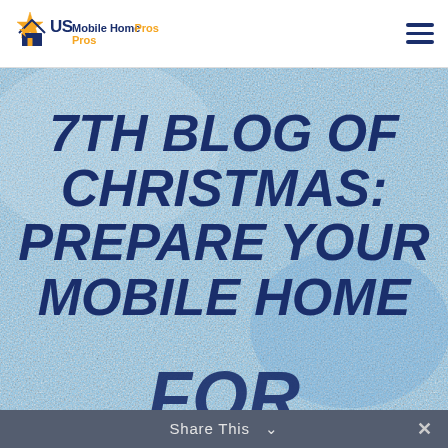[Figure (logo): US Mobile Home Pros logo with star and house icon in gold/navy, company name in dark navy and gold text]
7TH BLOG OF CHRISTMAS: PREPARE YOUR MOBILE HOME FOR
Share This ∨  ✕